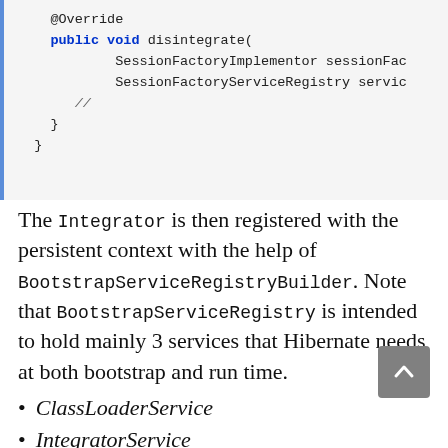[Figure (screenshot): Code block showing Java @Override method disintegrate with SessionFactoryImplementor and SessionFactoryServiceRegistry parameters, with a comment // and closing braces]
The Integrator is then registered with the persistent context with the help of BootstrapServiceRegistryBuilder. Note that BootstrapServiceRegistry is intended to hold mainly 3 services that Hibernate needs at both bootstrap and run time.
ClassLoaderService
IntegratorService